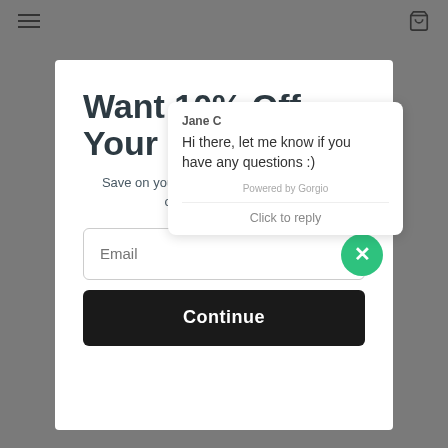[Figure (screenshot): E-commerce website screenshot showing a modal popup overlay on a gray background with hamburger menu and shopping cart icon in the navigation bar]
Want 10% Off Your First Order?
Save on your first order and get email only offers when you join.
[Figure (screenshot): Chat bubble overlay showing Jane C with message: Hi there, let me know if you have any questions :) Powered by Gorgio. Click to reply.]
Email
Continue